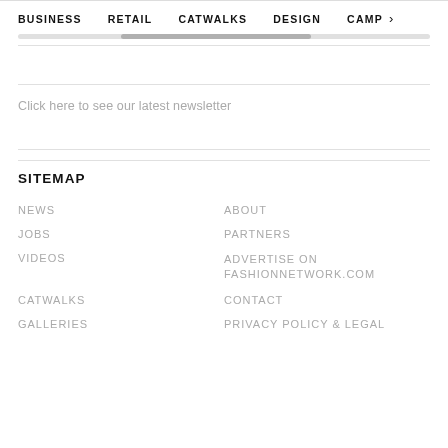BUSINESS   RETAIL   CATWALKS   DESIGN   CAMP >
Click here to see our latest newsletter
SITEMAP
NEWS
ABOUT
JOBS
PARTNERS
VIDEOS
ADVERTISE ON FASHIONNETWORK.COM
CATWALKS
CONTACT
GALLERIES
PRIVACY POLICY & LEGAL